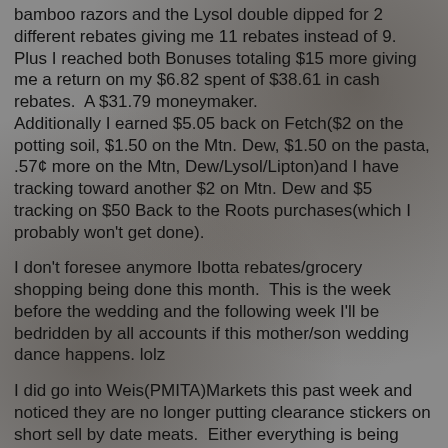bamboo razors and the Lysol double dipped for 2 different rebates giving me 11 rebates instead of 9. Plus I reached both Bonuses totaling $15 more giving me a return on my $6.82 spent of $38.61 in cash rebates.  A $31.79 moneymaker. Additionally I earned $5.05 back on Fetch($2 on the potting soil, $1.50 on the Mtn. Dew, $1.50 on the pasta, .57¢ more on the Mtn, Dew/Lysol/Lipton)and I have tracking toward another $2 on Mtn. Dew and $5 tracking on $50 Back to the Roots purchases(which I probably won't get done).
I don't foresee anymore Ibotta rebates/grocery shopping being done this month.  This is the week before the wedding and the following week I'll be bedridden by all accounts if this mother/son wedding dance happens. lolz
I did go into Weis(PMITA)Markets this past week and noticed they are no longer putting clearance stickers on short sell by date meats.  Either everything is being snatched up the day it's put out or they are just not having any "long in the tooth" meats due to shortages and demand. Hmmmm.